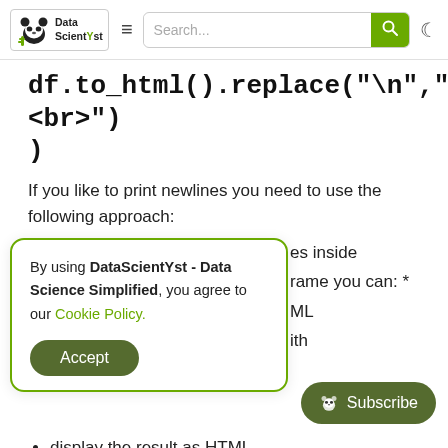DataScientYst website navbar with logo, hamburger menu, search bar
df.to_html().replace("\n","<br>")
If you like to print newlines you need to use the following approach:
By using DataScientYst - Data Science Simplified, you agree to our Cookie Policy.
es inside
rame you can: *
ML
th
display the result as HTML